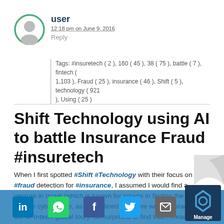[Figure (illustration): User avatar: grey person silhouette icon with green circular border]
user
12:18 pm on June 9, 2016
Reply
Tags: #insuretech ( 2 ), 160 ( 45 ), 38 ( 75 ), battle ( 7 ), fintech ( 1,103 ), Fraud ( 25 ), insurance ( 46 ), Shift ( 5 ), technology ( 921 ), Using ( 25 )
Shift Technology using AI to battle Insurance Fraud #insuretech
When I first spotted #Shift #Technology with their focus on #fraud detection for #insurance, I assumed I would find a venture in Israel (which is known for smarts in finding the bad guys in cyberspace, as we outlined when we went to Israel on our #Fintech global tour). So surprised to find that&#8230;Read more Shift Technology using AI to #battle Insurance Fraud&#160;ins- #using AI to #battle Insurance Fraud&#160;ins